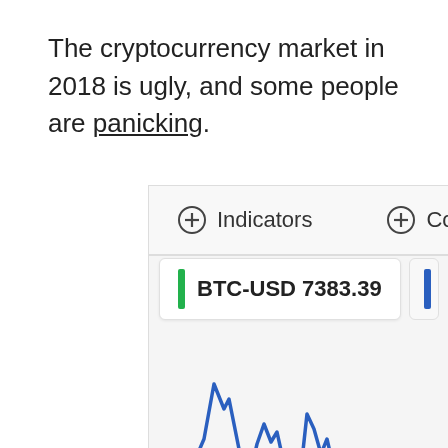The cryptocurrency market in 2018 is ugly, and some people are panicking.
[Figure (screenshot): A cryptocurrency chart interface showing BTC-USD at 7383.39 and partially visible ETH-USD, with Indicators and Comparisons toolbar buttons, and a blue line chart showing volatile price movements with a small red area at the bottom left.]